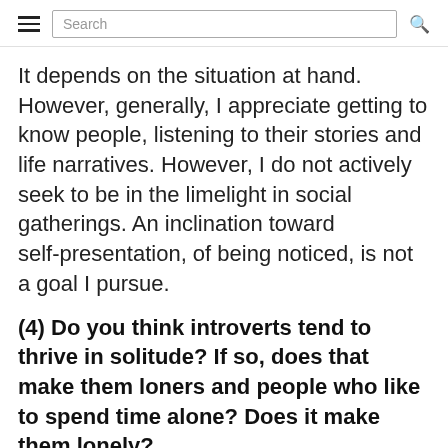Search
It depends on the situation at hand. However, generally, I appreciate getting to know people, listening to their stories and life narratives. However, I do not actively seek to be in the limelight in social gatherings. An inclination toward self-presentation, of being noticed, is not a goal I pursue.
(4) Do you think introverts tend to thrive in solitude? If so, does that make them loners and people who like to spend time alone? Does it make them lonely?